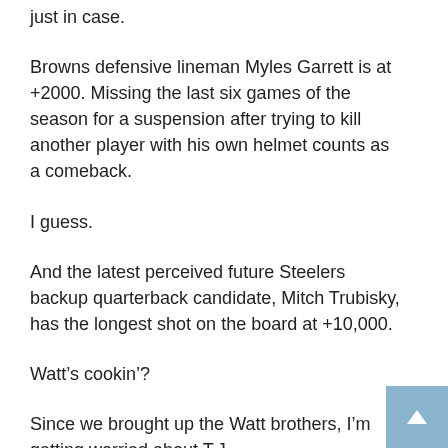just in case.
Browns defensive lineman Myles Garrett is at +2000. Missing the last six games of the season for a suspension after trying to kill another player with his own helmet counts as a comeback.
I guess.
And the latest perceived future Steelers backup quarterback candidate, Mitch Trubisky, has the longest shot on the board at +10,000.
Watt's cookin'?
Since we brought up the Watt brothers, I'm getting worried about T.J.